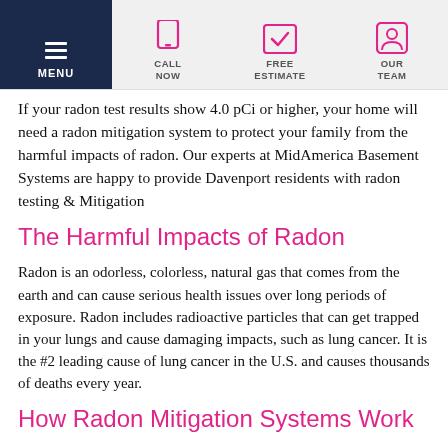MENU | CALL NOW | FREE ESTIMATE | OUR TEAM
If your radon test results show 4.0 pCi or higher, your home will need a radon mitigation system to protect your family from the harmful impacts of radon. Our experts at MidAmerica Basement Systems are happy to provide Davenport residents with radon testing & Mitigation
The Harmful Impacts of Radon
Radon is an odorless, colorless, natural gas that comes from the earth and can cause serious health issues over long periods of exposure. Radon includes radioactive particles that can get trapped in your lungs and cause damaging impacts, such as lung cancer. It is the #2 leading cause of lung cancer in the U.S. and causes thousands of deaths every year.
How Radon Mitigation Systems Work
Radon is a natural gas that comes from the earth, so our mitigation systems are designed to capture radon before it enters your home and safely disperses it outside. It includes a PVC pipe that is installed in the ground, and then usually extends past your roof. The system also includes a fan to pull air from the soil, which may contain radon, and funnels it